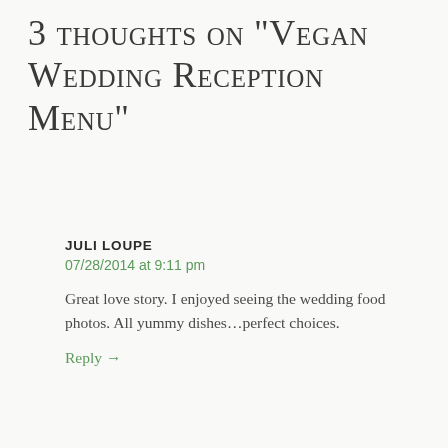3 thoughts on "Vegan Wedding Reception Menu"
JULI LOUPE
07/28/2014 at 9:11 pm
Great love story. I enjoyed seeing the wedding food photos. All yummy dishes…perfect choices.
Reply →
YOGINI KALIJI
07/28/2014 at 11:32 pm
Jaya Guru Devi Kelli, We all loved your 'wedding meal'! Everyone is still talking about it. After the